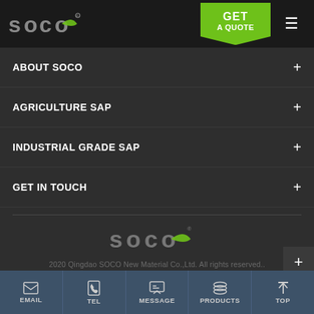SOCO logo, GET A QUOTE, hamburger menu
ABOUT SOCO
AGRICULTURE SAP
INDUSTRIAL GRADE SAP
GET IN TOUCH
[Figure (logo): SOCO brand logo in grey and green]
2020 Qingdao SOCO New Material Co.,Ltd. All rights reserved..
GET SOCIAL
EMAIL | TEL | MESSAGE | PRODUCTS | TOP